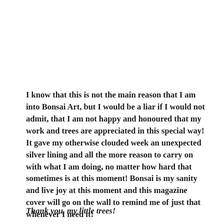I know that this is not the main reason that I am into Bonsai Art, but I would be a liar if I would not admit, that I am not happy and honoured that my work and trees are appreciated in this special way! It gave my otherwise clouded week an unexpected silver lining and all the more reason to carry on with what I am doing, no matter how hard that sometimes is at this moment! Bonsai is my sanity and live joy at this moment and this magazine cover will go on the wall to remind me of just that whenever I need it!
Thank you, my little trees!